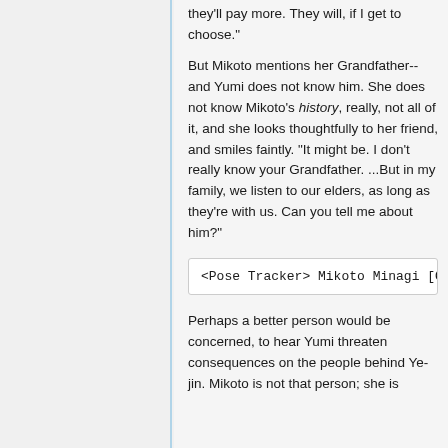they'll pay more. They will, if I get to choose."
But Mikoto mentions her Grandfather-- and Yumi does not know him. She does not know Mikoto's history, really, not all of it, and she looks thoughtfully to her friend, and smiles faintly. "It might be. I don't really know your Grandfather. ...But in my family, we listen to our elders, as long as they're with us. Can you tell me about him?"
<Pose Tracker> Mikoto Minagi [O
Perhaps a better person would be concerned, to hear Yumi threaten consequences on the people behind Ye-jin. Mikoto is not that person; she is